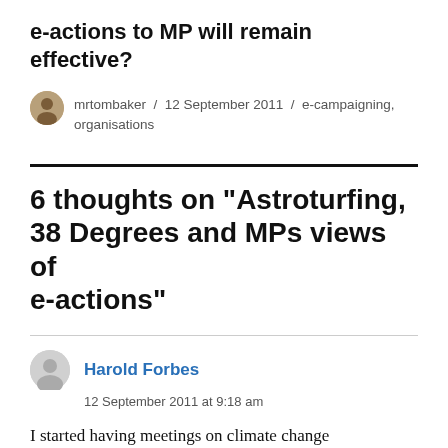e-actions to MP will remain effective?
mrtombaker / 12 September 2011 / e-campaigning, organisations
6 thoughts on “Astroturfing, 38 Degrees and MPs views of e-actions”
Harold Forbes
12 September 2011 at 9:18 am
I started having meetings on climate change